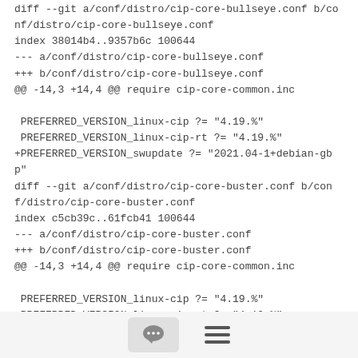diff --git a/conf/distro/cip-core-bullseye.conf b/conf/distro/cip-core-bullseye.conf
index 38014b4..9357b6c 100644
--- a/conf/distro/cip-core-bullseye.conf
+++ b/conf/distro/cip-core-bullseye.conf
@@ -14,3 +14,4 @@ require cip-core-common.inc

 PREFERRED_VERSION_linux-cip ?= "4.19.%"
 PREFERRED_VERSION_linux-cip-rt ?= "4.19.%"
+PREFERRED_VERSION_swupdate ?= "2021.04-1+debian-gbp"
diff --git a/conf/distro/cip-core-buster.conf b/conf/distro/cip-core-buster.conf
index c5cb39c..61fcb41 100644
--- a/conf/distro/cip-core-buster.conf
+++ b/conf/distro/cip-core-buster.conf
@@ -14,3 +14,4 @@ require cip-core-common.inc

 PREFERRED_VERSION_linux-cip ?= "4.19.%"
 PREFERRED_VERSION_linux-cip-rt ?= "4.19.%"
+PREFERRED_VERSION_swupdate ?= "2021.04-1+git~conf"
[Figure (other): Bottom toolbar with chat bubble icon button and hamburger menu icon]